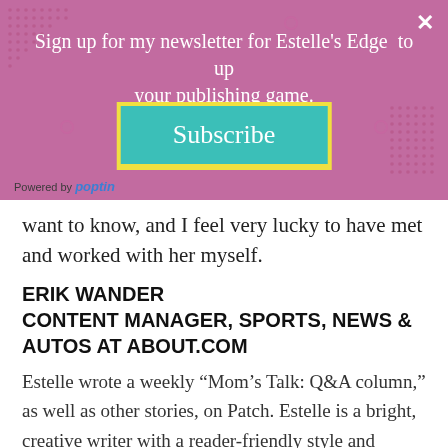[Figure (screenshot): Newsletter subscription popup banner with pink/mauve background, decorative dots and circles, headline text 'Sign up for my newsletter for Estelle's Edge to up your publishing game.', a teal Subscribe button with yellow border, and 'Powered by poptin' branding at bottom left. An X close button is in the top right.]
want to know, and I feel very lucky to have met and worked with her myself.
ERIK WANDER
CONTENT MANAGER, SPORTS, NEWS & AUTOS AT ABOUT.COM
Estelle wrote a weekly “Mom’s Talk: Q&A column,” as well as other stories, on Patch. Estelle is a bright, creative writer with a reader-friendly style and bountiful ideas. She also demonstrates great